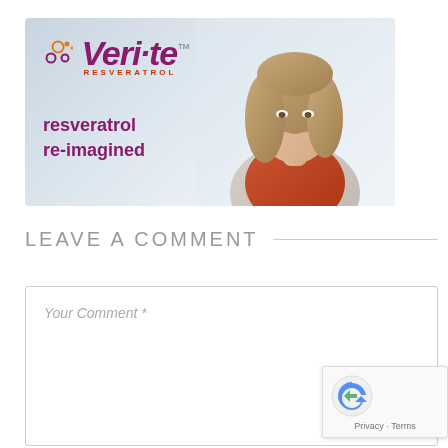[Figure (illustration): Veri-te Resveratrol advertisement banner showing a woman smiling, with Veri-te logo, tagline 'resveratrol re-imagined', and Evolva logo in the top right corner. Background is light blue-grey gradient.]
LEAVE A COMMENT
Your Comment *
[Figure (other): reCAPTCHA widget with Privacy - Terms text]